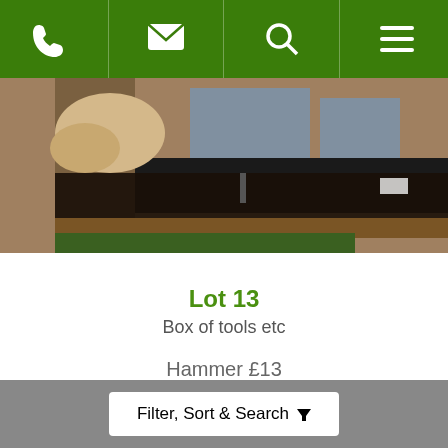[Figure (screenshot): Green navigation bar with phone, email, search, and menu icons]
[Figure (photo): Photo of a box of tools and other items on a table, including what appears to be a toolbox tray with various items]
Lot 13
Box of tools etc
Hammer £13
Fees ?
☆ Watch Lot
Filter, Sort & Search ▼